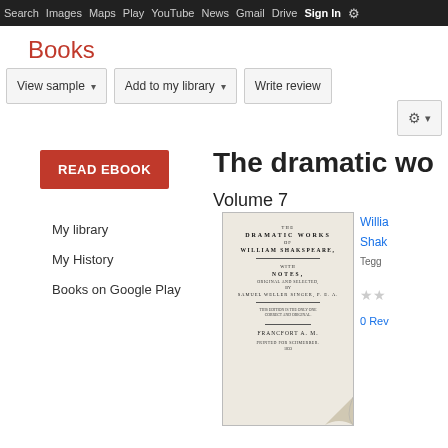Search  Images  Maps  Play  YouTube  News  Gmail  Drive  More  Sign In  ⚙
Books
View sample ▾   Add to my library ▾   Write review   ⚙ ▾
READ EBOOK
The dramatic wo
Volume 7
My library
My History
Books on Google Play
[Figure (illustration): Book cover titled THE DRAMATIC WORKS OF WILLIAM SHAKSPEARE, with NOTES, ORIGINAL AND SELECTED, BY SAMUEL WELLER SINGER, P.R.A., published FRANCFORT A.M. PRINTED FOR SCHMERBER, 1833]
Willia
Shak
Tegg
★★
0 Rev